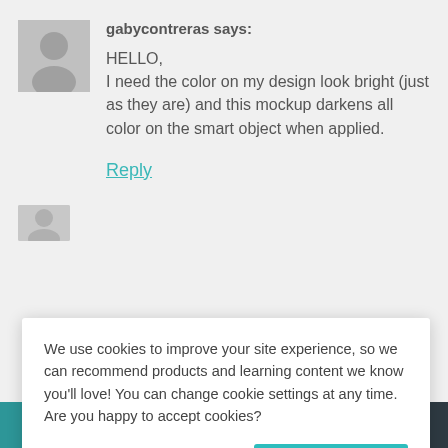gabycontreras says:
HELLO,
I need the color on my design look bright (just as they are) and this mockup darkens all color on the smart object when applied.
Reply
We use cookies to improve your site experience, so we can recommend products and learning content we know you'll love! You can change cookie settings at any time. Are you happy to accept cookies?
Manage Cookie Preferences
Yes I'm Happy
Add to Cart ↑    TOP